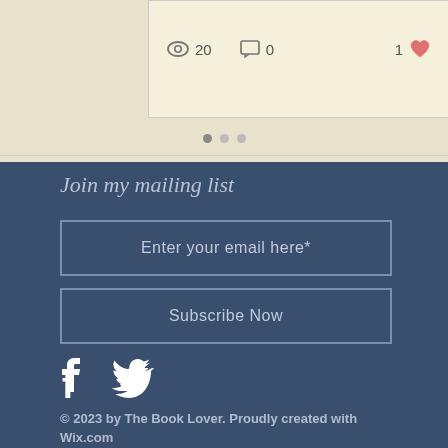[Figure (screenshot): Blog post card stats row showing eye/view icon with count 20, comment icon with count 0, and a heart icon with count 1 in red/coral color]
[Figure (other): Pagination dots: one filled dark dot and two lighter dots indicating carousel position]
Join my mailing list
Enter your email here*
Subscribe Now
[Figure (logo): Facebook and Twitter social media icons in white]
© 2023 by The Book Lover. Proudly created with Wix.com